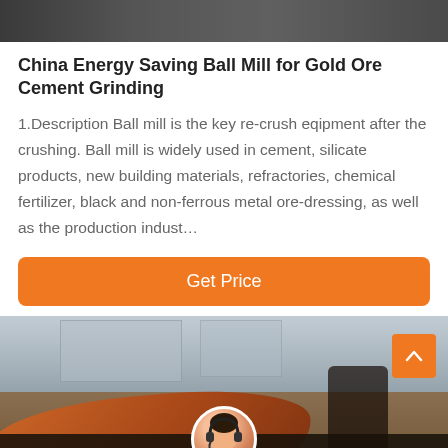[Figure (photo): Top portion of industrial machinery photo, dark tones]
China Energy Saving Ball Mill for Gold Ore Cement Grinding
1.Description Ball mill is the key re-crush eqipment after the crushing. Ball mill is widely used in cement, silicate products, new building materials, refractories, chemical fertilizer, black and non-ferrous metal ore-dressing, as well as the production indust…
[Figure (photo): Button labeled Get Price with orange background]
[Figure (photo): Industrial ball mill machine in factory setting, orange cylindrical drum in foreground, building in background. Bottom bar with Leave Message and Chat Online buttons and avatar.]